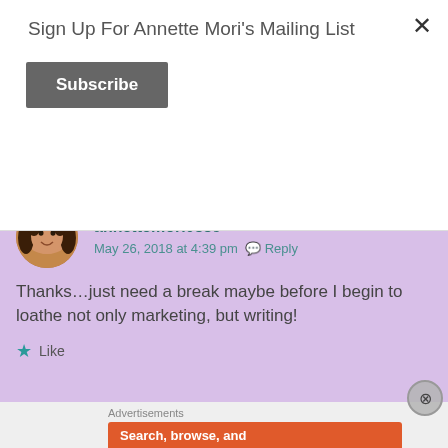Sign Up For Annette Mori's Mailing List
Subscribe
annettemori0859
May 26, 2018 at 4:39 pm  Reply
Thanks…just need a break maybe before I begin to loathe not only marketing, but writing!
Like
Advertisements
[Figure (screenshot): DuckDuckGo advertisement banner showing 'Search, browse, and email with more privacy. All in One Free App' with a phone mockup on an orange/red background.]